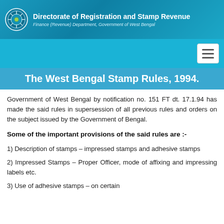Directorate of Registration and Stamp Revenue
Finance (Revenue) Department, Government of West Bengal
The West Bengal Stamp Rules, 1994.
Government of West Bengal by notification no. 151 FT dt. 17.1.94 has made the said rules in supersession of all previous rules and orders on the subject issued by the Government of Bengal.
Some of the important provisions of the said rules are :-
1) Description of stamps – impressed stamps and adhesive stamps
2) Impressed Stamps – Proper Officer, mode of affixing and impressing labels etc.
3) Use of adhesive stamps – on certain